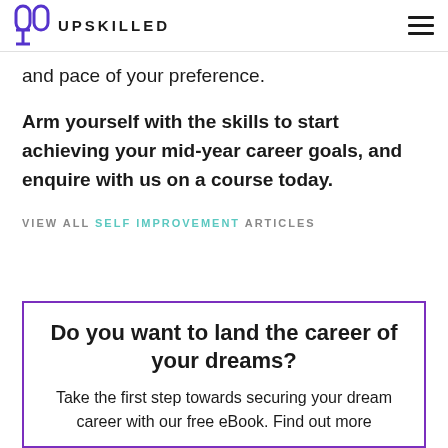UPSKILLED
and pace of your preference.
Arm yourself with the skills to start achieving your mid-year career goals, and enquire with us on a course today.
VIEW ALL SELF IMPROVEMENT ARTICLES
Do you want to land the career of your dreams?
Take the first step towards securing your dream career with our free eBook. Find out more